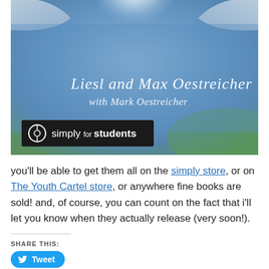[Figure (photo): Book cover photo showing a person in a blue shirt holding it up, with text 'Liesl and Max Oestreicher with Mark Oestreicher' in cursive and a black badge reading 'simply for students' with a circular logo]
you'll be able to get them all on the simply store, or on The Youth Cartel store, or anywhere fine books are sold! and, of course, you can count on the fact that i'll let you know when they actually release (very soon!).
SHARE THIS:
Tweet